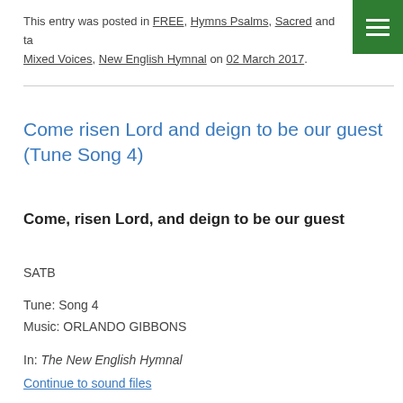This entry was posted in FREE, Hymns Psalms, Sacred and ta... Mixed Voices, New English Hymnal on 02 March 2017.
Come risen Lord and deign to be our guest (Tune Song 4)
Come, risen Lord, and deign to be our guest
SATB
Tune: Song 4
Music: ORLANDO GIBBONS
In: The New English Hymnal
Continue to sound files